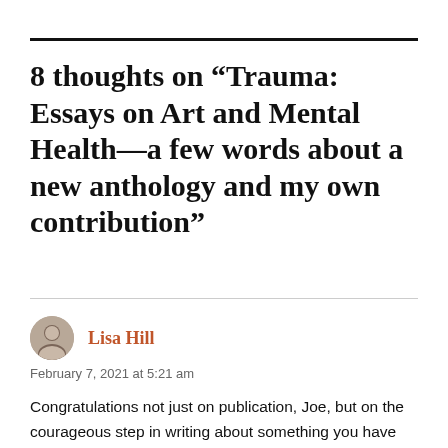8 thoughts on “Trauma: Essays on Art and Mental Health—a few words about a new anthology and my own contribution”
Lisa Hill
February 7, 2021 at 5:21 am
Congratulations not just on publication, Joe, but on the courageous step in writing about something you have resisted for so long. Looking forward to chatting with you again on